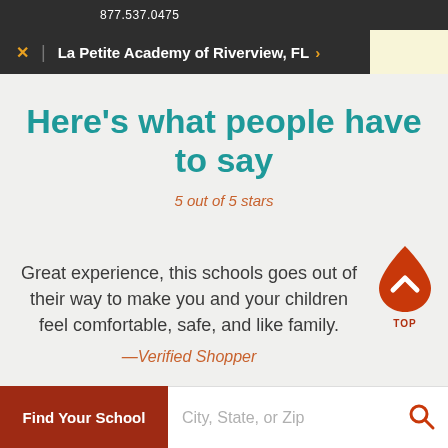877.537.0475
La Petite Academy of Riverview, FL
Here's what people have to say
5 out of 5 stars
Great experience, this schools goes out of their way to make you and your children feel comfortable, safe, and like family.
—Verified Shopper
Find Your School
City, State, or Zip